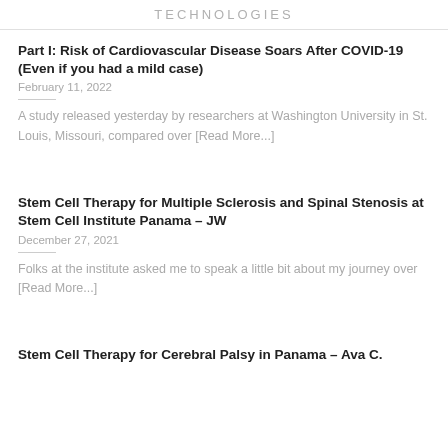TECHNOLOGIES
Part I: Risk of Cardiovascular Disease Soars After COVID-19 (Even if you had a mild case)
February 11, 2022
A study released yesterday by researchers at Washington University in St. Louis, Missouri, compared over [Read More...]
Stem Cell Therapy for Multiple Sclerosis and Spinal Stenosis at Stem Cell Institute Panama – JW
December 27, 2021
Folks at the institute asked me to speak a little bit about my journey over [Read More...]
Stem Cell Therapy for Cerebral Palsy in Panama – Ava C.